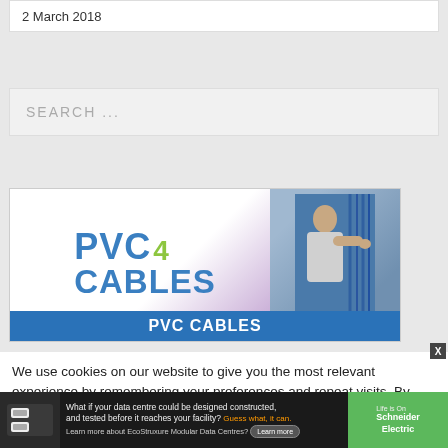2 March 2018
SEARCH ...
[Figure (illustration): PVC4Cables advertisement banner showing PVC CABLES logo in blue and green with a person working on server/data cables on the right side, and a blue bar at the bottom reading PVC CABLES]
We use cookies on our website to give you the most relevant experience by remembering your preferences and repeat visits. By clicking “Accept”, you consent to the use of ALL the cookies.
[Figure (screenshot): Schneider Electric bottom advertisement banner: What if your data centre could be designed constructed, and tested before it reaches your facility? Guess what, it can. Learn more about EcoStruxure Modular Data Centres? Learn more button. Life is On Schneider Electric logo on green background.]